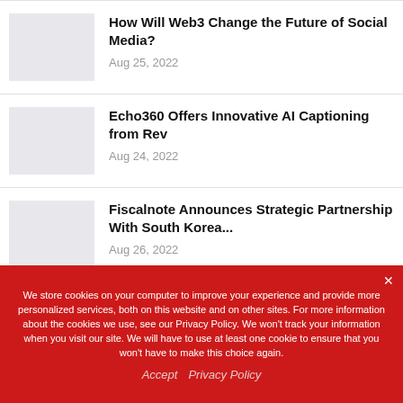How Will Web3 Change the Future of Social Media? Aug 25, 2022
Echo360 Offers Innovative AI Captioning from Rev Aug 24, 2022
Fiscalnote Announces Strategic Partnership With South Korea... Aug 26, 2022
We store cookies on your computer to improve your experience and provide more personalized services, both on this website and on other sites. For more information about the cookies we use, see our Privacy Policy. We won't track your information when you visit our site. We will have to use at least one cookie to ensure that you won't have to make this choice again.

Accept   Privacy Policy